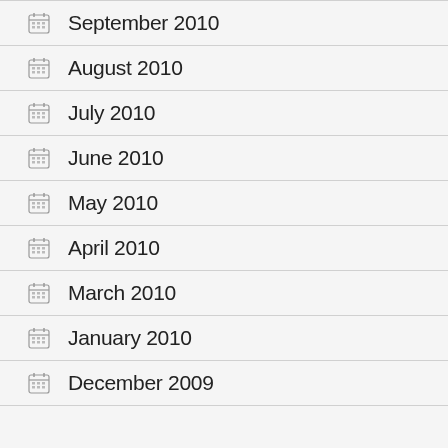September 2010
August 2010
July 2010
June 2010
May 2010
April 2010
March 2010
January 2010
December 2009